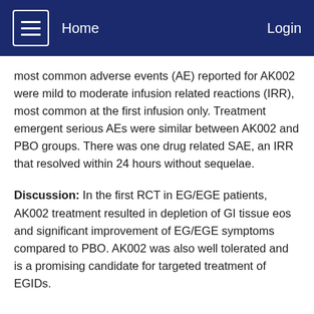Home  Login
most common adverse events (AE) reported for AK002 were mild to moderate infusion related reactions (IRR), most common at the first infusion only. Treatment emergent serious AEs were similar between AK002 and PBO groups. There was one drug related SAE, an IRR that resolved within 24 hours without sequelae.
Discussion: In the first RCT in EG/EGE patients, AK002 treatment resulted in depletion of GI tissue eos and significant improvement of EG/EGE symptoms compared to PBO. AK002 was also well tolerated and is a promising candidate for targeted treatment of EGIDs.